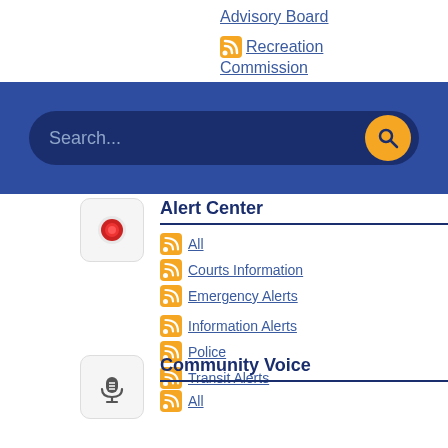Advisory Board
Recreation Commission
[Figure (screenshot): Search bar with orange search button on dark blue background]
Alert Center
All
Courts Information
Emergency Alerts
Information Alerts
Police
Transit Alerts
Community Voice
All